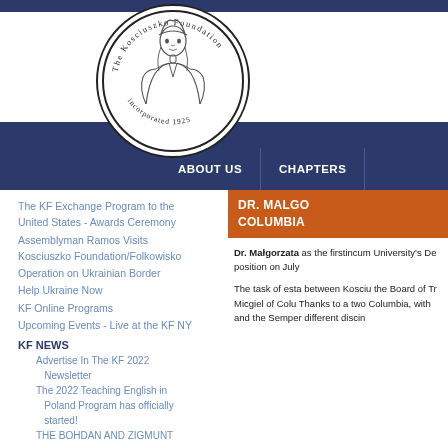[Figure (logo): The Kosciuszko Foundation circular logo with an illustration of a person and text 'The Kosciuszko Foundation incorporated 1925']
ABOUT US | CHAPTERS
The KF Exchange Program to the United States - Awards Ceremony
Assemblyman Ramos Visits Kosciuszko Foundation/Folkowisko
Operation on Ukrainian Border
Help Ukraine Now
KF Online Programs
Upcoming Events - Live at the KF NY
KF NEWS
Advertise In The KF 2022 Newsletter
The 2022 Teaching English in Poland Program has officially started!
THE BOHDAN AND ZIGMUNT
DR. MALGO COLUMBIA
Dr. Małgorzata as the firstincum University's De position on July

The task of esta between Kosciu the Board of Tr Micgiel of Colu Thanks to a two Columbia, with and the Semper different discin